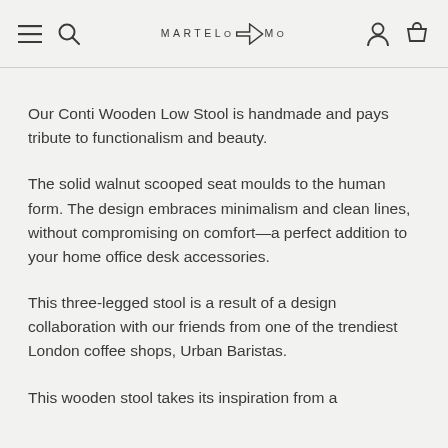MARTELO MO — navigation header with hamburger menu, search, logo, account and cart icons
Our Conti Wooden Low Stool is handmade and pays tribute to functionalism and beauty.
The solid walnut scooped seat moulds to the human form. The design embraces minimalism and clean lines, without compromising on comfort—a perfect addition to your home office desk accessories.
This three-legged stool is a result of a design collaboration with our friends from one of the trendiest London coffee shops, Urban Baristas.
This wooden stool takes its inspiration from a